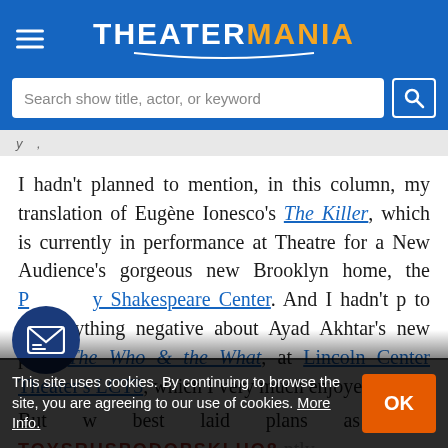TheaterMania
[Figure (screenshot): Search bar with placeholder 'Search show title, actor, or keyword' and a blue search button with magnifying glass icon]
I hadn't planned to mention, in this column, my translation of Eugène Ionesco's The Killer, which is currently in performance at Theatre for a New Audience's gorgeous new Brooklyn home, the [Polonsky] Shakespeare Center. And I hadn't planned to say anything negative about Ayad Akhtar's new play, The Who & the What, at Lincoln Center Theater's LCT3, which I very much enjoyed. But well, best laid plans... as much... recently... how...
This site uses cookies. By continuing to browse the site, you are agreeing to our use of cookies. More Info.